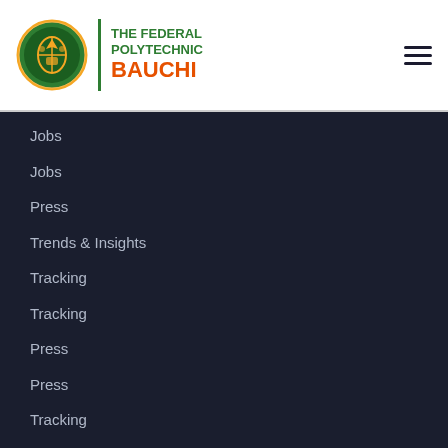[Figure (logo): The Federal Polytechnic Bauchi logo with circular green emblem and institution name]
Jobs
Jobs
Press
Trends & Insights
Tracking
Tracking
Press
Press
Tracking
Press
Press
Blog